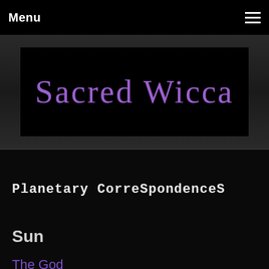Menu
[Figure (logo): Sacred Wicca logo — decorative text reading 'Sacred Wicca' in purple/lavender ornate font on black background, inside a dark gray banner]
Planetary CorreSpondenceS
Sun
The God